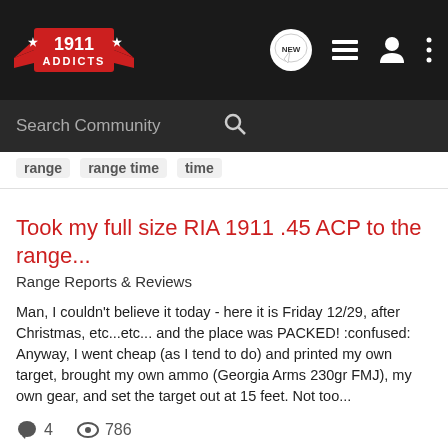1911 ADDICTS — navigation bar with logo, new messages, list, profile, and menu icons
Search Community
range   range time   time
Took my full size RIA 1911 .45 ACP to the range...
Range Reports & Reviews
Man, I couldn't believe it today - here it is Friday 12/29, after Christmas, etc...etc... and the place was PACKED! :confused: Anyway, I went cheap (as I tend to do) and printed my own target, brought my own ammo (Georgia Arms 230gr FMJ), my own gear, and set the target out at 15 feet. Not too...
4   786
ButchA · Dec 29, 2017
.45 acp   range   ria